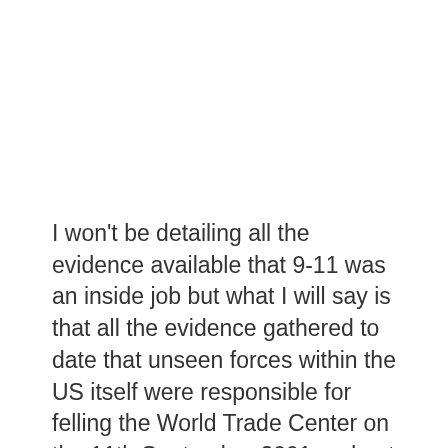I won't be detailing all the evidence available that 9-11 was an inside job but what I will say is that all the evidence gathered to date that unseen forces within the US itself were responsible for felling the World Trade Center on the 11th September 2001 and not al-Qaeda, is pretty much overwhelming. This evidence has been gathered by qualified professionals such as demolition